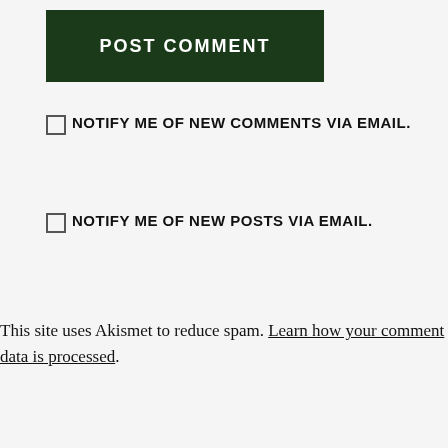[Figure (other): Dark green 'POST COMMENT' button]
NOTIFY ME OF NEW COMMENTS VIA EMAIL.
NOTIFY ME OF NEW POSTS VIA EMAIL.
This site uses Akismet to reduce spam. Learn how your comment data is processed.